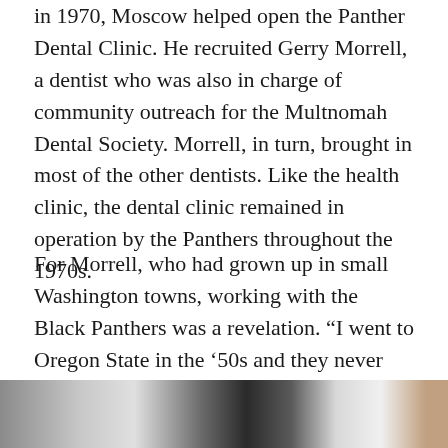in 1970, Moscow helped open the Panther Dental Clinic. He recruited Gerry Morrell, a dentist who was also in charge of community outreach for the Multnomah Dental Society. Morrell, in turn, brought in most of the other dentists. Like the health clinic, the dental clinic remained in operation by the Panthers throughout the 1970s.
For Morrell, who had grown up in small Washington towns, working with the Black Panthers was a revelation. “I went to Oregon State in the ’50s and they never even had a black basketball player until the ’60s. I remember seeing Kent and thinking, he’s not that scary.
[Figure (photo): Partial view of a photograph strip at the bottom of the page, showing what appears to be archival black and white images.]